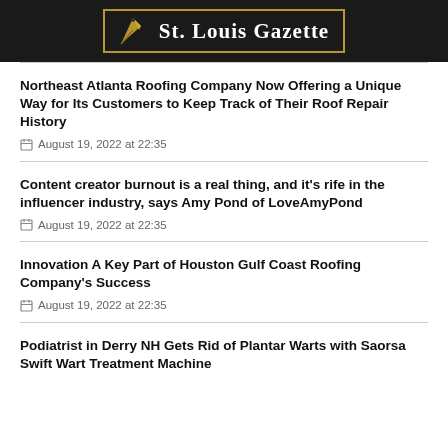St. Louis Gazette
Northeast Atlanta Roofing Company Now Offering a Unique Way for Its Customers to Keep Track of Their Roof Repair History
August 19, 2022 at 22:35
Content creator burnout is a real thing, and it's rife in the influencer industry, says Amy Pond of LoveAmyPond
August 19, 2022 at 22:35
Innovation A Key Part of Houston Gulf Coast Roofing Company's Success
August 19, 2022 at 22:35
Podiatrist in Derry NH Gets Rid of Plantar Warts with Saorsa Swift Wart Treatment Machine